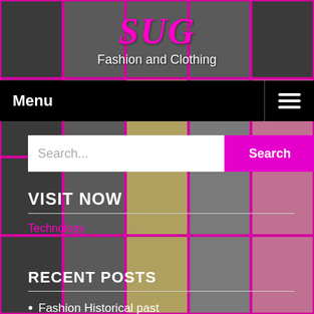[Figure (photo): Background grid of fashion/clothing photos showing women in various outfits, with magenta/pink grid borders]
SUG
Fashion and Clothing
Menu
Search...
VISIT NOW
Technology
RECENT POSTS
Fashion Historical past